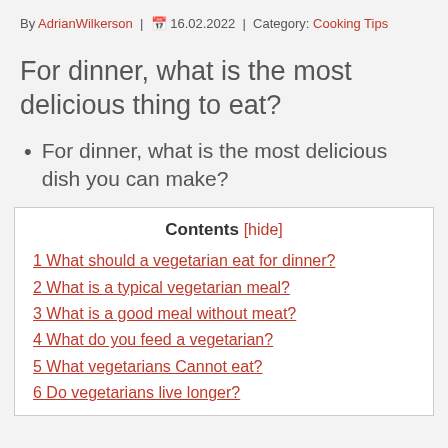By AdrianWilkerson | 16.02.2022 | Category: Cooking Tips
For dinner, what is the most delicious thing to eat?
For dinner, what is the most delicious dish you can make?
Contents [hide]
1 What should a vegetarian eat for dinner?
2 What is a typical vegetarian meal?
3 What is a good meal without meat?
4 What do you feed a vegetarian?
5 What vegetarians Cannot eat?
6 Do vegetarians live longer?